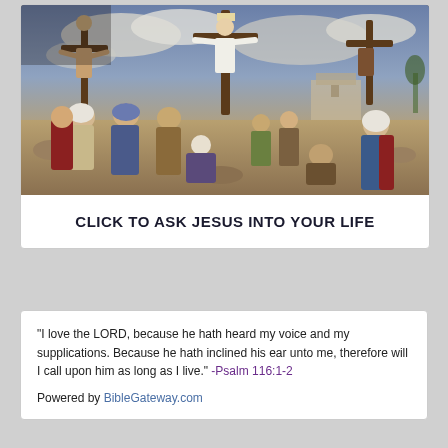[Figure (illustration): A painted scene of the Crucifixion of Jesus Christ at Golgotha, showing three crosses with figures on them against a cloudy sky, and a crowd of people gathered around including soldiers, mourners, and onlookers depicted in ancient Middle Eastern dress.]
CLICK TO ASK JESUS INTO YOUR LIFE
“I love the LORD, because he hath heard my voice and my supplications. Because he hath inclined his ear unto me, therefore will I call upon him as long as I live.” -Psalm 116:1-2
Powered by BibleGateway.com